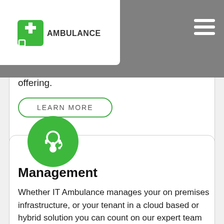[Figure (logo): IT Ambulance logo with green cross/medical icon and text AMBULANCE]
ur to deal with your most critical recent years this service exists to r confidence in our managed service offering.
LEARN MORE
[Figure (illustration): Green circle with white headset/support agent icon]
Management
Whether IT Ambulance manages your on premises infrastructure, or your tenant in a cloud based or hybrid solution you can count on our expert team to deliver a highly reliable, user friendly system that exceeds your expectation for Confidentiality,